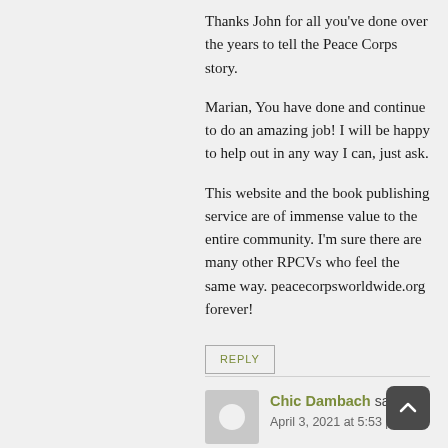Thanks John for all you've done over the years to tell the Peace Corps story.
Marian, You have done and continue to do an amazing job! I will be happy to help out in any way I can, just ask.
This website and the book publishing service are of immense value to the entire community. I'm sure there are many other RPCVs who feel the same way. peacecorpsworldwide.org forever!
REPLY
Chic Dambach says:
April 3, 2021 at 5:53 pm